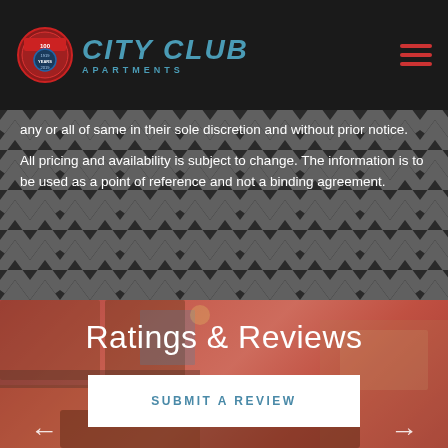[Figure (logo): City Club Apartments logo with badge and text]
any or all of same in their sole discretion and without prior notice.
All pricing and availability is subject to change. The information is to be used as a point of reference and not a binding agreement.
[Figure (photo): Kitchen/apartment interior photo with red-orange overlay]
Ratings & Reviews
SUBMIT A REVIEW